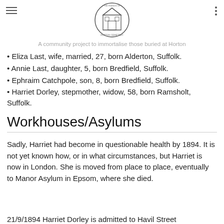The Friends of Horton Cemetery — A community project to immortalise those buried at Horton
Eliza Last, wife, married, 27, born Alderton, Suffolk.
Annie Last, daughter, 5, born Bredfield, Suffolk.
Ephraim Catchpole, son, 8, born Bredfield, Suffolk.
Harriet Dorley, stepmother, widow, 58, born Ramsholt, Suffolk.
Workhouses/Asylums
Sadly, Harriet had become in questionable health by 1894. It is not yet known how, or in what circumstances, but Harriet is now in London. She is moved from place to place, eventually to Manor Asylum in Epsom, where she died.
21/9/1894 Harriet Dorley is admitted to Havil Street